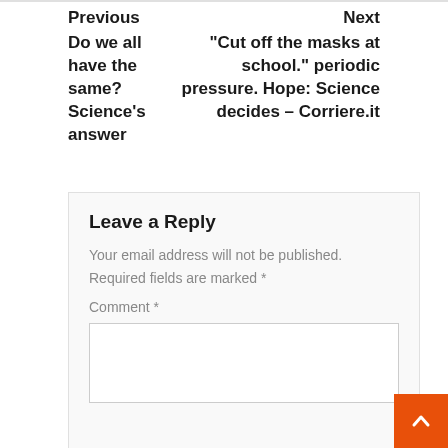Previous
Do we all have the same? Science's answer
Next
"Cut off the masks at school." periodic pressure. Hope: Science decides – Corriere.it
Leave a Reply
Your email address will not be published. Required fields are marked *
Comment *